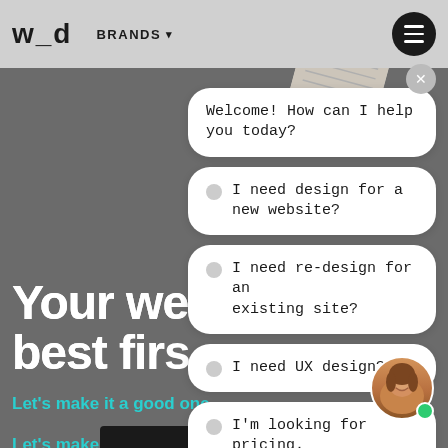w_d   BRANDS ▾
[Figure (screenshot): Decorative watermark image top right, rotated paper with patterns]
Your website is your best first im
Let's make it a good one.
[Figure (screenshot): Chatbot interface with welcome message and option bubbles: 'Welcome! How can I help you today?', 'I need design for a new website?', 'I need re-design for an existing site?', 'I need UX design?', "I'm looking for pricing."]
[Figure (photo): Avatar photo of a woman smiling, with green online indicator dot]